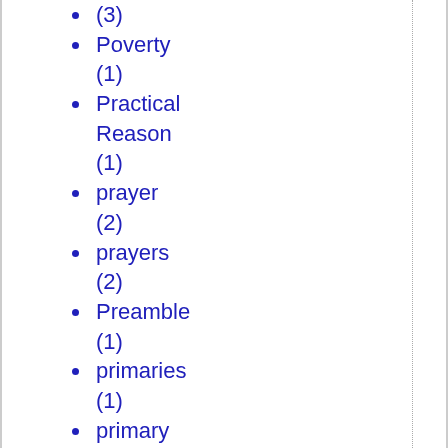(3)
Poverty (1)
Practical Reason (1)
prayer (2)
prayers (2)
Preamble (1)
primaries (1)
primary election (1)
Primitive Accumulation (2)
Primitivism (1)
principle (1)
privacy